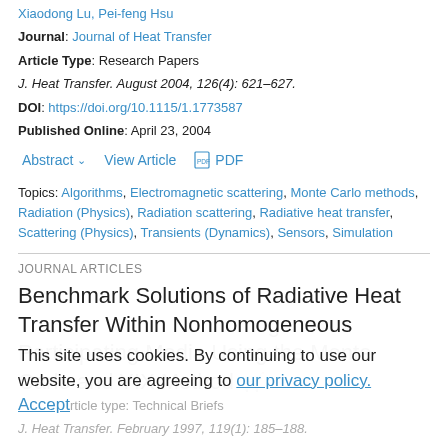Xiaodong Lu, Pei-feng Hsu
Journal: Journal of Heat Transfer
Article Type: Research Papers
J. Heat Transfer. August 2004, 126(4): 621–627.
DOI: https://doi.org/10.1115/1.1773587
Published Online: April 23, 2004
Abstract  View Article  PDF
Topics: Algorithms, Electromagnetic scattering, Monte Carlo methods, Radiation (Physics), Radiation scattering, Radiative heat transfer, Scattering (Physics), Transients (Dynamics), Sensors, Simulation
JOURNAL ARTICLES
Benchmark Solutions of Radiative Heat Transfer Within Nonhomogeneous Participating Media Using the Monte Carlo and YIX Method
This site uses cookies. By continuing to use our website, you are agreeing to our privacy policy. Accept
Article type: Technical Briefs
J. Heat Transfer. February 1997, 119(1): 185–188.